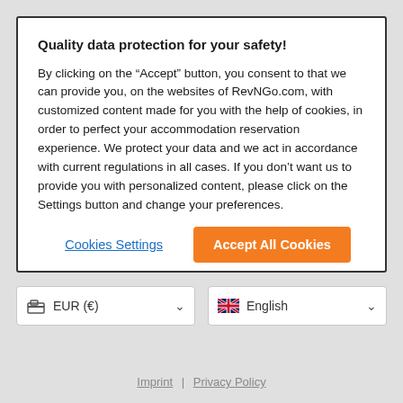Quality data protection for your safety!
By clicking on the “Accept” button, you consent to that we can provide you, on the websites of RevNGo.com, with customized content made for you with the help of cookies, in order to perfect your accommodation reservation experience. We protect your data and we act in accordance with current regulations in all cases. If you don’t want us to provide you with personalized content, please click on the Settings button and change your preferences.
Cookies Settings
Accept All Cookies
EUR (€)
English
Imprint | Privacy Policy